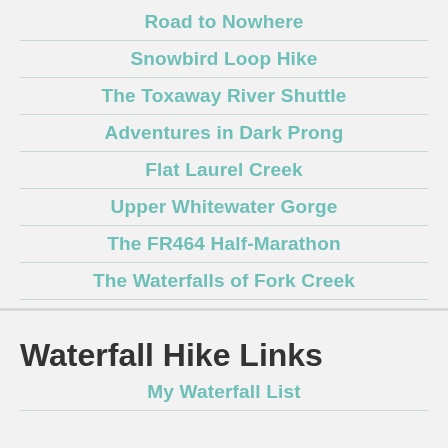Road to Nowhere
Snowbird Loop Hike
The Toxaway River Shuttle
Adventures in Dark Prong
Flat Laurel Creek
Upper Whitewater Gorge
The FR464 Half-Marathon
The Waterfalls of Fork Creek
Waterfall Hike Links
My Waterfall List